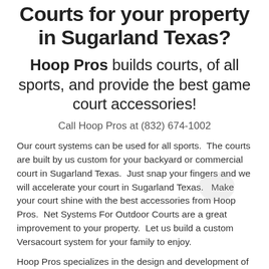Courts for your property in Sugarland Texas?
Hoop Pros builds courts, of all sports, and provide the best game court accessories!
Call Hoop Pros at (832) 674-1002
Our court systems can be used for all sports.  The courts are built by us custom for your backyard or commercial court in Sugarland Texas.  Just snap your fingers and we will accelerate your court in Sugarland Texas.   Make your court shine with the best accessories from Hoop Pros.  Net Systems For Outdoor Courts are a great improvement to your property.  Let us build a custom Versacourt system for your family to enjoy.
Hoop Pros specializes in the design and development of courts for all applications.